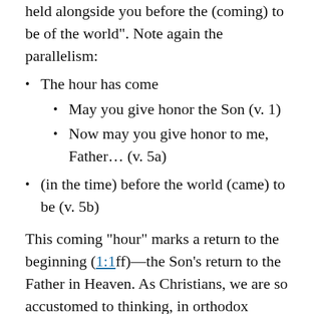held alongside you before the (coming) to be of the world". Note again the parallelism:
The hour has come
May you give honor the Son (v. 1)
Now may you give honor to me, Father... (v. 5a)
(in the time) before the world (came) to be (v. 5b)
This coming “hour” marks a return to the beginning (1:1ff)—the Son’s return to the Father in Heaven. As Christians, we are so accustomed to thinking, in orthodox terms, of Jesus’ divine pre-existence, that it is easy to forget (or ignore) how rare this idea actually is in the New Testament. It is not to be found at